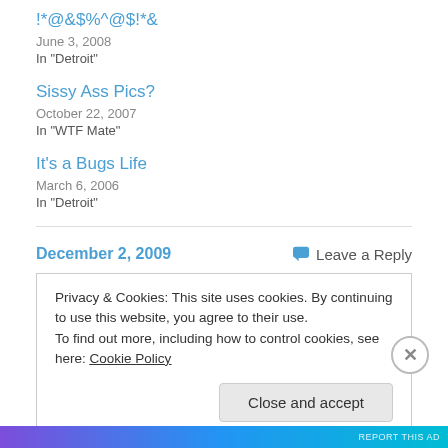!*@&$%^@$!*&
June 3, 2008
In "Detroit"
Sissy Ass Pics?
October 22, 2007
In "WTF Mate"
It's a Bugs Life
March 6, 2006
In "Detroit"
December 2, 2009
Leave a Reply
Privacy & Cookies: This site uses cookies. By continuing to use this website, you agree to their use.
To find out more, including how to control cookies, see here: Cookie Policy
Close and accept